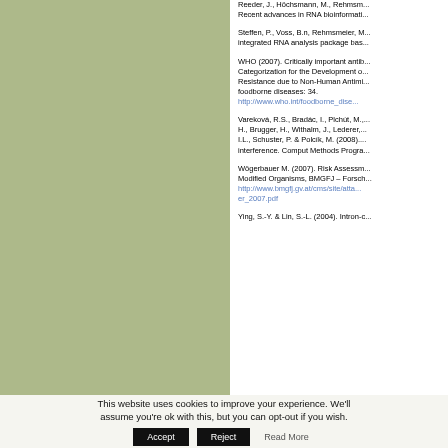[Figure (other): Green/sage colored rectangular panel on the left side of the page]
Reeder, J., Höchsmann, M., Rehmsm... Recent advances in RNA bioinformati...
Steffen, P., Voss, B.n, Rehmsmeier, M... integrated RNA analysis package bas...
WHO (2007). Critically important antib... Categorization for the Development o... Resistance due to Non-Human Antimi... foodborne diseases: 34. http://www.who.int/foodborne_dise...
Vareková, R.S., Bradác, I., Plchút, M.,... H., Brugger, H., Withalm, J., Lederer,... I.L., Schuster, P. & Polcík, M. (2008).... interference. Comput Methods Progra...
Wögerbauer M. (2007). Risk Assessm... Modified Organisms, BMGFJ – Forsch... http://www.bmgfj.gv.at/cms/site/atta... er_2007.pdf
Ying, S.-Y. & Lin, S.-L. (2004). Intron-c...
This website uses cookies to improve your experience. We'll assume you're ok with this, but you can opt-out if you wish.